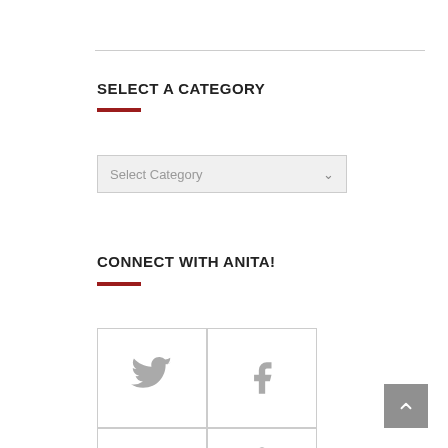SELECT A CATEGORY
[Figure (screenshot): Dropdown select box labeled 'Select Category' with a chevron arrow on the right]
CONNECT WITH ANITA!
[Figure (other): Social media icons grid: Twitter bird icon, Facebook f icon, YouTube text partial, and a fourth icon partially visible]